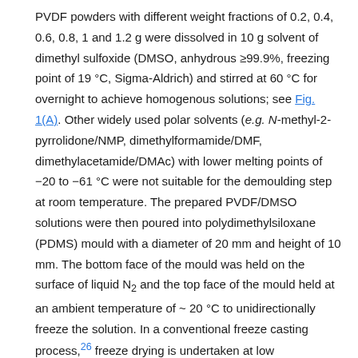PVDF powders with different weight fractions of 0.2, 0.4, 0.6, 0.8, 1 and 1.2 g were dissolved in 10 g solvent of dimethyl sulfoxide (DMSO, anhydrous ≥99.9%, freezing point of 19 °C, Sigma-Aldrich) and stirred at 60 °C for overnight to achieve homogenous solutions; see Fig. 1(A). Other widely used polar solvents (e.g. N-methyl-2-pyrrolidone/NMP, dimethylformamide/DMF, dimethylacetamide/DMAc) with lower melting points of −20 to −61 °C were not suitable for the demoulding step at room temperature. The prepared PVDF/DMSO solutions were then poured into polydimethylsiloxane (PDMS) mould with a diameter of 20 mm and height of 10 mm. The bottom face of the mould was held on the surface of liquid N₂ and the top face of the mould held at an ambient temperature of ~20 °C to unidirectionally freeze the solution. In a conventional freeze casting process,²⁶ freeze drying is undertaken at low temperature and pressure in order to sublimate the solvent from a solid to a gas. In this work, freeze drying of the frozen PVDF/DMSO was not chosen since DMSO has the potential to